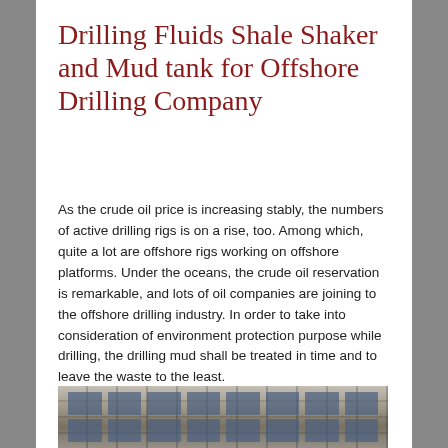Drilling Fluids Shale Shaker and Mud tank for Offshore Drilling Company
As the crude oil price is increasing stably, the numbers of active drilling rigs is on a rise, too. Among which, quite a lot are offshore rigs working on offshore platforms. Under the oceans, the crude oil reservation is remarkable, and lots of oil companies are joining to the offshore drilling industry. In order to take into consideration of environment protection purpose while drilling, the drilling mud shall be treated in time and to leave the waste to the least. GN Solids Control has been providing offshore drilling companies for years with the high quality and compact designed mud recycling system. Here is information of a recent project:
[Figure (photo): Photograph of a building facade showing concrete structure with windows, related to offshore drilling facilities]